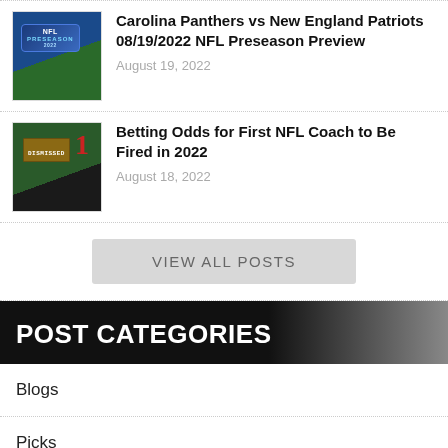Carolina Panthers vs New England Patriots 08/19/2022 NFL Preseason Preview
August 19, 2022
Betting Odds for First NFL Coach to Be Fired in 2022
August 18, 2022
VIEW ALL POSTS
POST CATEGORIES
Blogs
Picks
News